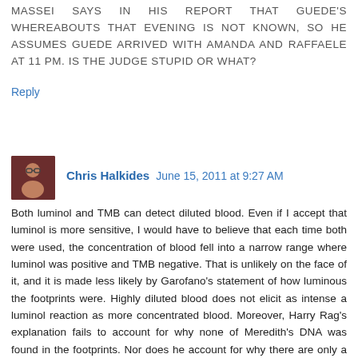MASSEI SAYS IN HIS REPORT THAT GUEDE'S WHEREABOUTS THAT EVENING IS NOT KNOWN, SO HE ASSUMES GUEDE ARRIVED WITH AMANDA AND RAFFAELE AT 11 PM. IS THE JUDGE STUPID OR WHAT?
Reply
Chris Halkides  June 15, 2011 at 9:27 AM
Both luminol and TMB can detect diluted blood. Even if I accept that luminol is more sensitive, I would have to believe that each time both were used, the concentration of blood fell into a narrow range where luminol was positive and TMB negative. That is unlikely on the face of it, and it is made less likely by Garofano's statement of how luminous the footprints were. Highly diluted blood does not elicit as intense a luminol reaction as more concentrated blood. Moreover, Harry Rag's explanation fails to account for why none of Meredith's DNA was found in the footprints. Nor does he account for why there are only a few of them and